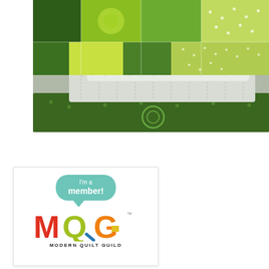[Figure (photo): Stacked folded quilts in green and white/grey fabrics with floral and dotted patterns, photographed from above on a grey background]
[Figure (logo): Modern Quilt Guild membership badge. Speech bubble in teal reading 'I'm a member!' above colorful MQG logo letters in red, yellow-green, teal, and orange, with 'MODERN QUILT GUILD' text below and trademark symbol]